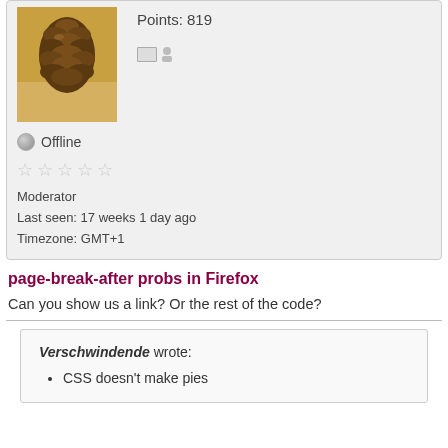[Figure (photo): Profile photo showing a pine cone on sandy/golden ground]
Points: 819
Offline
☆ ☆ ☆ ☆ ☆
Moderator
Last seen: 17 weeks 1 day ago
Timezone: GMT+1
page-break-after probs in Firefox
Can you show us a link? Or the rest of the code?
Verschwindende wrote:
• CSS doesn't make pies